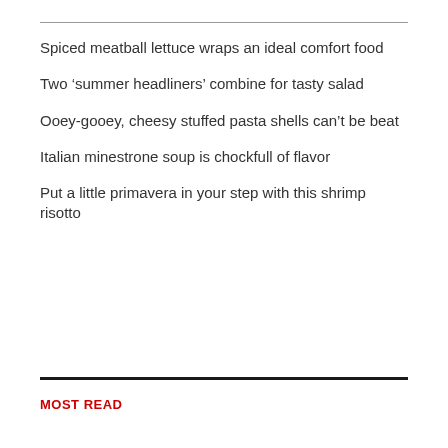Spiced meatball lettuce wraps an ideal comfort food
Two ‘summer headliners’ combine for tasty salad
Ooey-gooey, cheesy stuffed pasta shells can’t be beat
Italian minestrone soup is chockfull of flavor
Put a little primavera in your step with this shrimp risotto
MOST READ